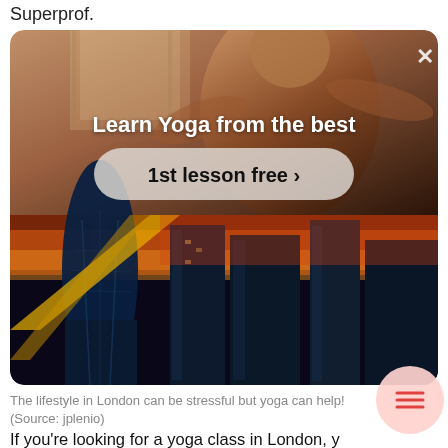Superprof.
[Figure (photo): Advertisement banner for a yoga tutoring service showing a person in a warm-toned indoor setting (top half) and a cityscape of London skyscrapers at sunset (bottom half). Contains text 'Learn Yoga from the best' and a button '1st lesson free >'  with a close X button.]
The lifestyle in London can be stressful but yoga can help! (Source: jplenio)
If you're looking for a yoga class in London, your first port of call should be one of the many yoga studios. Be it Vinyasa yoga, prenatal yoga, Power